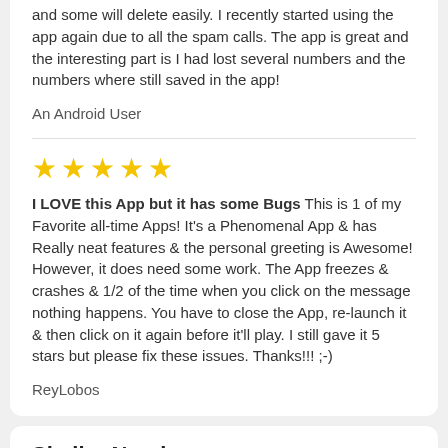and some will delete easily. I recently started using the app again due to all the spam calls. The app is great and the interesting part is I had lost several numbers and the numbers where still saved in the app!
An Android User
[Figure (other): 5 yellow stars rating]
I LOVE this App but it has some Bugs This is 1 of my Favorite all-time Apps! It's a Phenomenal App & has Really neat features & the personal greeting is Awesome! However, it does need some work. The App freezes & crashes & 1/2 of the time when you click on the message nothing happens. You have to close the App, re-launch it & then click on it again before it'll play. I still gave it 5 stars but please fix these issues. Thanks!!! ;-)
ReyLobos
Similar Numbers